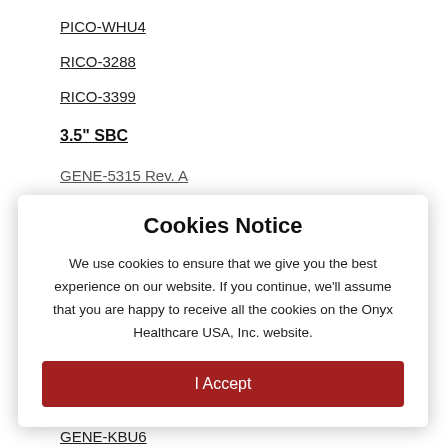PICO-WHU4
RICO-3288
RICO-3399
3.5" SBC
GENE-5315 Rev. A
GENE-5315 Rev. B
GENE-6315 (faded)
GENE-6315 A (faded)
GENE-6315 B (faded)
GENE-6315 D (faded)
GENE-8310 (faded)
GENE-KBU6
Cookies Notice

We use cookies to ensure that we give you the best experience on our website. If you continue, we'll assume that you are happy to receive all the cookies on the Onyx Healthcare USA, Inc. website.

I Accept